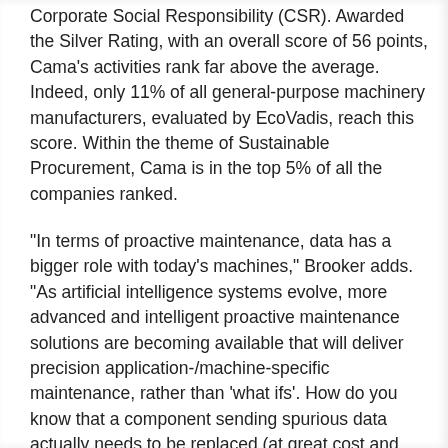Corporate Social Responsibility (CSR). Awarded the Silver Rating, with an overall score of 56 points, Cama's activities rank far above the average. Indeed, only 11% of all general-purpose machinery manufacturers, evaluated by EcoVadis, reach this score. Within the theme of Sustainable Procurement, Cama is in the top 5% of all the companies ranked.
“In terms of proactive maintenance, data has a bigger role with today’s machines,” Brooker adds. “As artificial intelligence systems evolve, more advanced and intelligent proactive maintenance solutions are becoming available that will deliver precision application-/machine-specific maintenance, rather than ‘what ifs’. How do you know that a component sending spurious data actually needs to be replaced (at great cost and materials)? It may last much longer than you anticipate, making costly knee-jerk replacements unnecessary. Cama’s Industry 4.0 solutions are